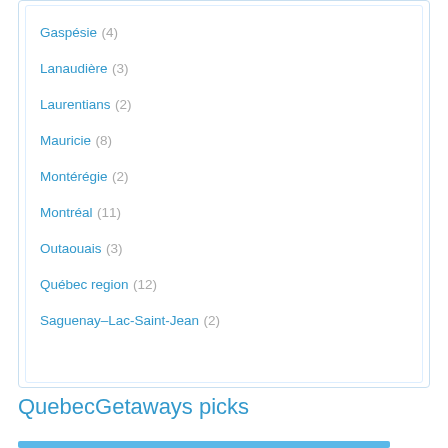Gaspésie (4)
Lanaudière (3)
Laurentians (2)
Mauricie (8)
Montérégie (2)
Montréal (11)
Outaouais (3)
Québec region (12)
Saguenay–Lac-Saint-Jean (2)
QuebecGetaways picks